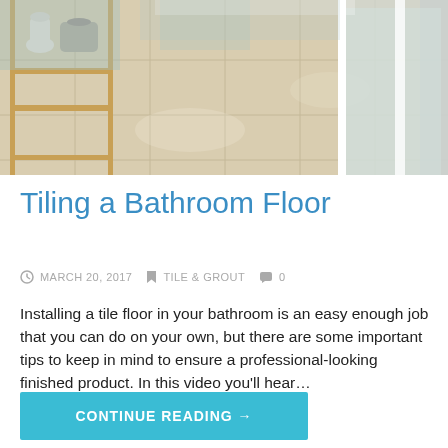[Figure (photo): Bathroom with light beige/cream tile floor, wooden shelf unit on left with white vase and bag, glass shower enclosure on right, teal/mint colored wall visible.]
Tiling a Bathroom Floor
MARCH 20, 2017   TILE & GROUT   0
Installing a tile floor in your bathroom is an easy enough job that you can do on your own, but there are some important tips to keep in mind to ensure a professional-looking finished product. In this video you’ll hear…
CONTINUE READING →